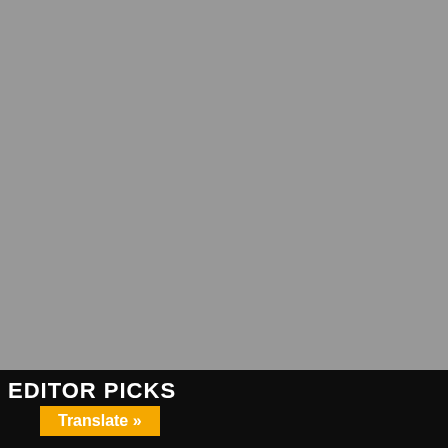[Figure (photo): Large gray rectangle occupying the upper portion of the page, likely a placeholder image]
EDITOR PICKS
Translate »